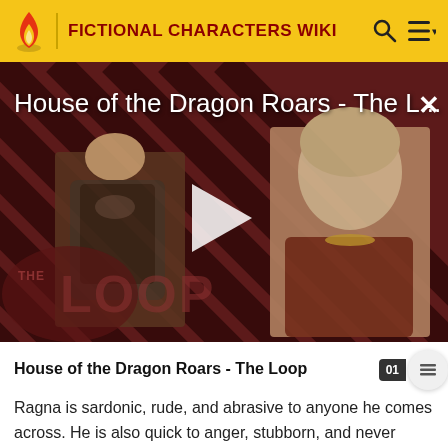FICTIONAL CHARACTERS WIKI
[Figure (screenshot): Video thumbnail for 'House of the Dragon Roars - The L...' showing two characters from House of the Dragon against a diagonal red and black striped background with 'THE LOOP' watermark. A white play button triangle is centered on the image. A close (×) button appears top right.]
House of the Dragon Roars - The Loop
Ragna is sardonic, rude, and abrasive to anyone he comes across. He is also quick to anger, stubborn, and never